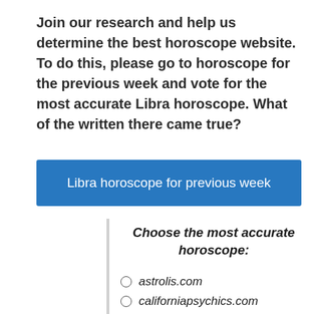Join our research and help us determine the best horoscope website. To do this, please go to horoscope for the previous week and vote for the most accurate Libra horoscope. What of the written there came true?
[Figure (other): Blue button labeled 'Libra horoscope for previous week']
Choose the most accurate horoscope:
astrolis.com
californiapsychics.com